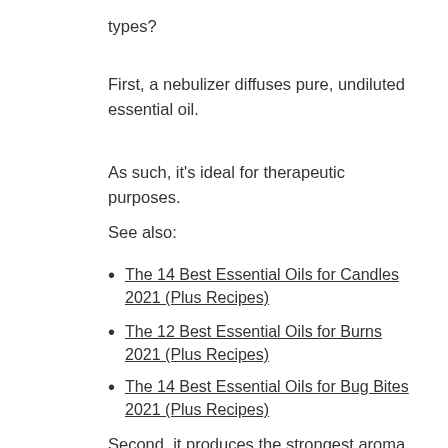types?
First, a nebulizer diffuses pure, undiluted essential oil.
As such, it's ideal for therapeutic purposes.
See also:
The 14 Best Essential Oils for Candles 2021 (Plus Recipes)
The 12 Best Essential Oils for Burns 2021 (Plus Recipes)
The 14 Best Essential Oils for Bug Bites 2021 (Plus Recipes)
Second, it produces the strongest aroma and